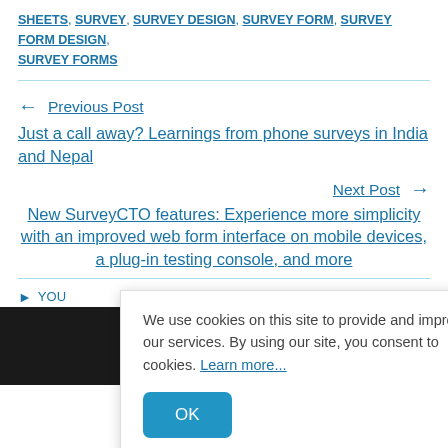SHEETS, SURVEY, SURVEY DESIGN, SURVEY FORM, SURVEY FORM DESIGN, SURVEY FORMS
← Previous Post
Just a call away? Learnings from phone surveys in India and Nepal
Next Post →
New SurveyCTO features: Experience more simplicity with an improved web form interface on mobile devices, a plug-in testing console, and more
YOU
We use cookies on this site to provide and improve our services. By using our site, you consent to cookies. Learn more...
OK